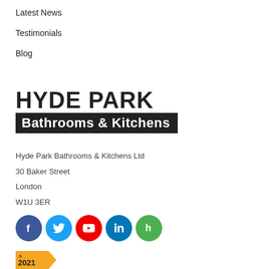Latest News
Testimonials
Blog
[Figure (logo): Hyde Park Bathrooms & Kitchens logo with large bold text 'HYDE PARK' above a dark banner reading 'Bathrooms & Kitchens']
Hyde Park Bathrooms & Kitchens Ltd
30 Baker Street
London
W1U 3ER
[Figure (infographic): Social media icons: Facebook (blue), Twitter (cyan), YouTube (red), LinkedIn (dark blue), Houzz (green)]
[Figure (logo): Houzz 2021 badge with yellow/gold background and arrow shape]